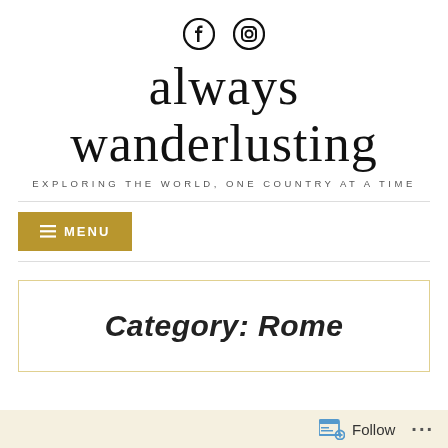[Figure (logo): Social media icons: Facebook and Instagram circle icons centered at top]
always wanderlusting
EXPLORING THE WORLD, ONE COUNTRY AT A TIME
≡ MENU
Category: Rome
Follow ...